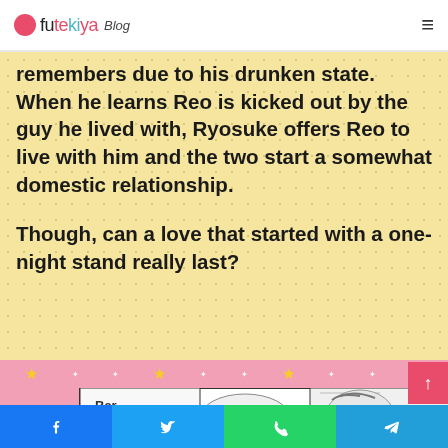futekiya Blog
remembers due to his drunken state. When he learns Reo is kicked out by the guy he lived with, Ryosuke offers Reo to live with him and the two start a somewhat domestic relationship.

Though, can a love that started with a one-night stand really last?
[Figure (illustration): Manga panel showing a bar sign on the left and a character's face on the right]
Facebook Twitter WhatsApp Telegram social share buttons